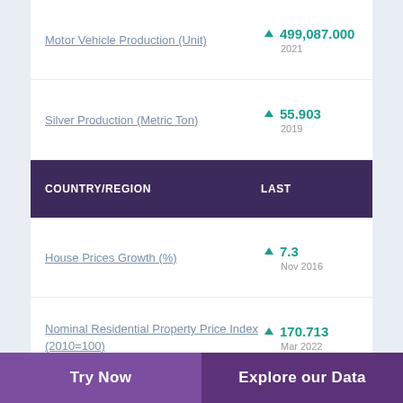Motor Vehicle Production (Unit) ▲ 499,087.000 2021
Silver Production (Metric Ton) ▲ 55.903 2019
| COUNTRY/REGION | LAST |
| --- | --- |
| House Prices Growth (%) | ▲ 7.3 Nov 2016 |
| Nominal Residential Property Price Index (2010=100) | ▲ 170.713 Mar 2022 |
| Nominal Residential | ▲ ... |
Try Now    Explore our Data